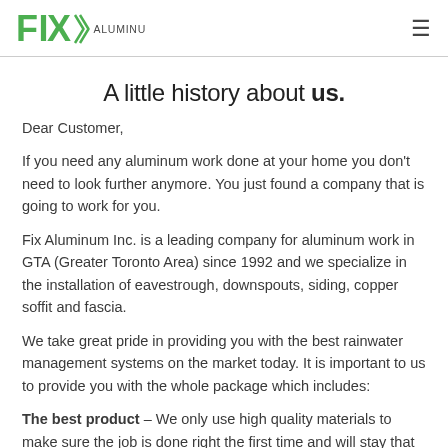FIX ALUMINUM INC.
A little history about us.
Dear Customer,
If you need any aluminum work done at your home you don't need to look further anymore. You just found a company that is going to work for you.
Fix Aluminum Inc. is a leading company for aluminum work in GTA (Greater Toronto Area) since 1992 and we specialize in the installation of eavestrough, downspouts, siding, copper soffit and fascia.
We take great pride in providing you with the best rainwater management systems on the market today. It is important to us to provide you with the whole package which includes:
The best product – We only use high quality materials to make sure the job is done right the first time and will stay that way for a